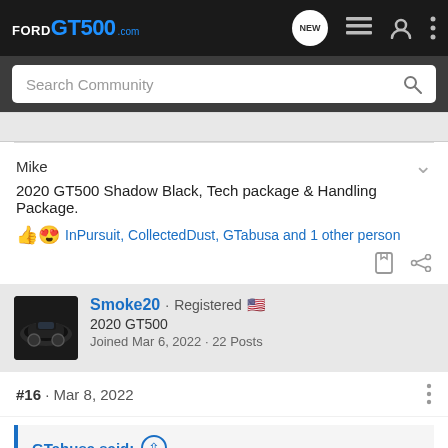FORD GT500.com — community header with navigation icons
Search Community
Mike
2020 GT500 Shadow Black, Tech package & Handling Package.
InPursuit, CollectedDust, GTabusa and 1 other person
Smoke20 · Registered 🇺🇸
2020 GT500
Joined Mar 6, 2022 · 22 Posts
#16  ·  Mar 8, 2022
GTabusa said: ⊕